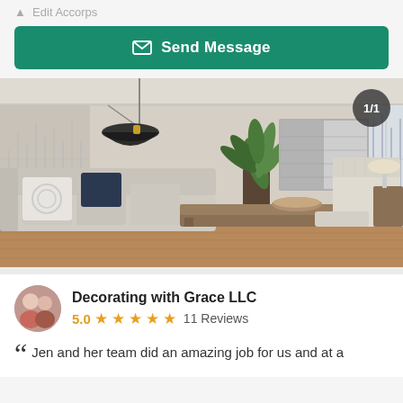[Figure (other): Send Message button with envelope icon on dark teal/green background]
[Figure (photo): Interior living room photo showing a modern staged room with light grey sofa, decorative pillows, large plant, abstract wall art, pendant lamp, wooden coffee table, and upholstered chair near a bright window. Counter badge shows 1/1.]
Decorating with Grace LLC
5.0 ★★★★★ 11 Reviews
Jen and her team did an amazing job for us and at a